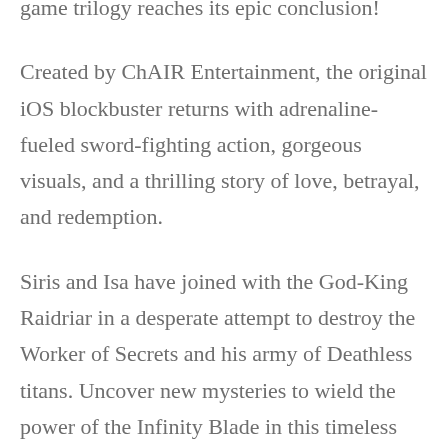game trilogy reaches its epic conclusion!
Created by ChAIR Entertainment, the original iOS blockbuster returns with adrenaline-fueled sword-fighting action, gorgeous visuals, and a thrilling story of love, betrayal, and redemption.
Siris and Isa have joined with the God-King Raidriar in a desperate attempt to destroy the Worker of Secrets and his army of Deathless titans. Uncover new mysteries to wield the power of the Infinity Blade in this timeless adventure